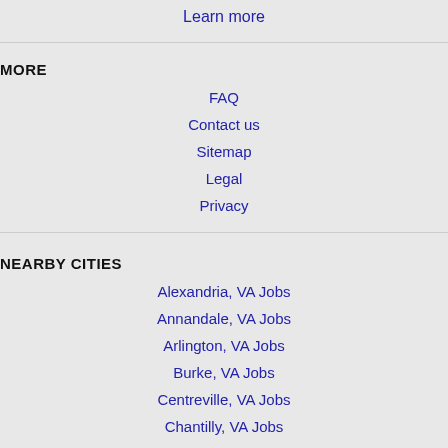Learn more
MORE
FAQ
Contact us
Sitemap
Legal
Privacy
NEARBY CITIES
Alexandria, VA Jobs
Annandale, VA Jobs
Arlington, VA Jobs
Burke, VA Jobs
Centreville, VA Jobs
Chantilly, VA Jobs